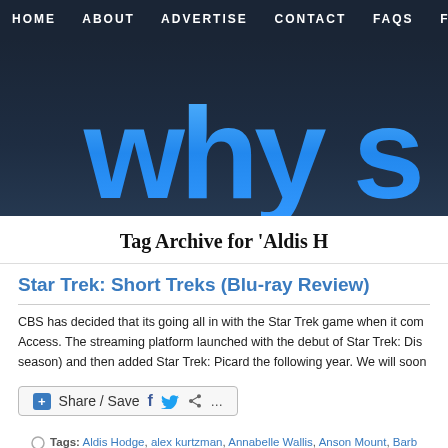HOME   ABOUT   ADVERTISE   CONTACT   FAQS   FR
[Figure (logo): Website logo showing 'why s' text in large blue letters on dark navy background]
Tag Archive for 'Aldis H
Star Trek: Short Treks (Blu-ray Review)
CBS has decided that its going all in with the Star Trek game when it com Access. The streaming platform launched with the debut of Star Trek: Dis season) and then added Star Trek: Picard the following year. We will soon
Share / Save
Tags: Aldis Hodge, alex kurtzman, Annabelle Wallis, Anson Mount, Barb Douglas Aarniokoski, Erika Lippoldt, Ethan Peck, H. Jon Benjamin, Hannah Sp Kenric Green, Kirk R. Thatcher, Krista Jang, Kyrie Mcalpin, Lisa Auguste, Lis Mary Wiseman, Michael Chabon, Michael Giacchino, Michael McMahan, M Rebecca Romijn, Robert Verlaque, Rosa Salazar, Samora Smallwood, Sasha